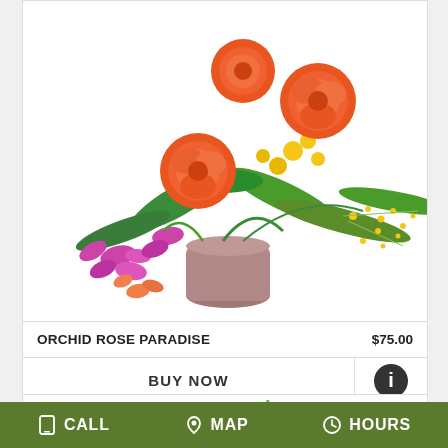[Figure (photo): Colorful floral arrangement with orange roses, purple orchids, yellow button flowers, and tropical greenery in a mauve cylindrical vase]
ORCHID ROSE PARADISE   $75.00
BUY NOW
[Figure (photo): Partial view of a floral arrangement with green bell-shaped flowers on tall stems and pink/red accent flowers]
CALL   MAP   HOURS